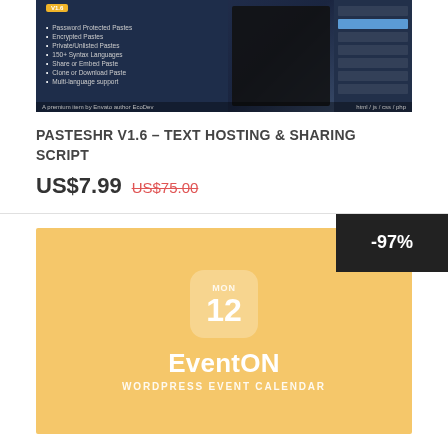[Figure (screenshot): PasteSHR software product screenshot showing a dark-themed text hosting interface with feature list on the left and code editor view on the right]
PASTESHR V1.6 - TEXT HOSTING & SHARING SCRIPT
US$7.99 US$75.00
[Figure (screenshot): EventON WordPress Event Calendar promotional image with golden/yellow background, calendar icon showing MON 12, EventON title, and WORDPRESS EVENT CALENDAR subtitle]
EVENTON V2.8.8 + ADDONS